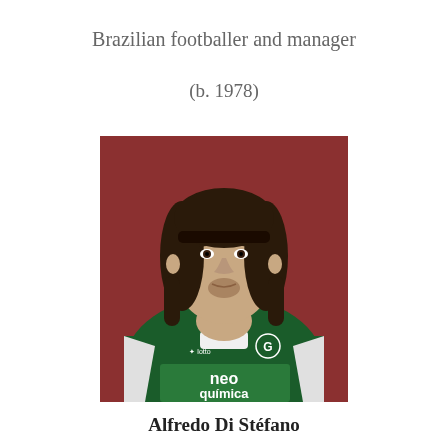Brazilian footballer and manager
(b. 1978)
[Figure (photo): Photo of a male footballer with long dark hair wearing a dark green Goiás EC jersey with 'neo química' sponsor text and 'G' club crest badge]
Alfredo Di Stéfano